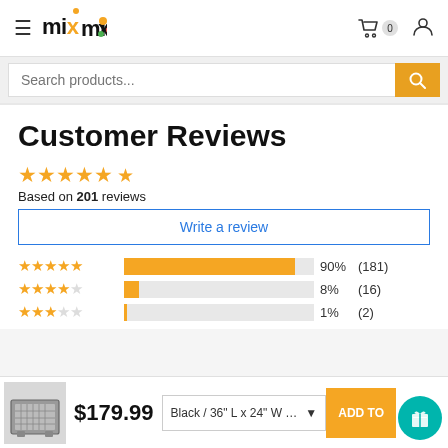mix — Search products... [cart icon 0] [user icon]
Customer Reviews
★★★★★ Based on 201 reviews
Write a review
| Stars | Bar | Percent | Count |
| --- | --- | --- | --- |
| 5 stars | 90% bar | 90% | (181) |
| 4 stars | 8% bar | 8% | (16) |
| 3 stars | 1% bar | 1% | (2) |
$179.99  Black / 36" L x 24" W x 29" H  ADD TO